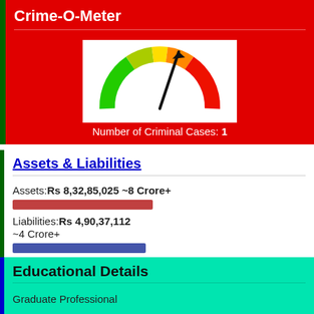Crime-O-Meter
[Figure (infographic): A semicircular gauge/meter showing crime level, colored green to red (left to right). A black arrow needle points upward-right indicating a moderate-high reading. Label below reads 'Number of Criminal Cases: 1']
Number of Criminal Cases: 1
Assets & Liabilities
Assets:Rs 8,32,85,025 ~8 Crore+
Liabilities:Rs 4,90,37,112 ~4 Crore+
Educational Details
Graduate Professional
M.B.B.S (Bachelor Medicine and Bachelor of Surgeon ) Madurai Kamaraj University, Madurai, Year 1980